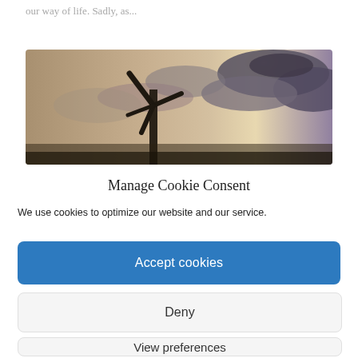our way of life. Sadly, as...
[Figure (photo): Windmill silhouette against a dramatic cloudy sky with sunlight breaking through clouds]
Manage Cookie Consent
We use cookies to optimize our website and our service.
Accept cookies
Deny
View preferences